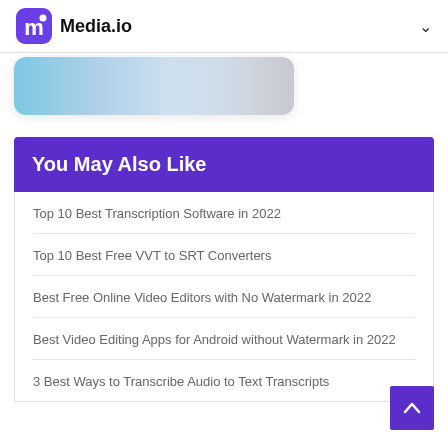Media.io
[Figure (photo): Partial view of an image card with a blue/grey photo, partially cropped at the top of the page]
You May Also Like
Top 10 Best Transcription Software in 2022
Top 10 Best Free VVT to SRT Converters
Best Free Online Video Editors with No Watermark in 2022
Best Video Editing Apps for Android without Watermark in 2022
3 Best Ways to Transcribe Audio to Text Transcripts